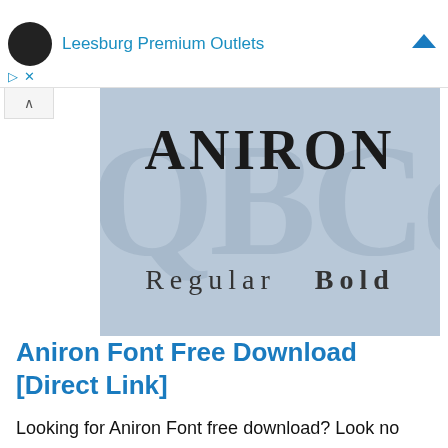[Figure (screenshot): Advertisement bar showing Leesburg Premium Outlets with circular logo icon and blue diamond icon on right, with play and close controls at bottom left]
[Figure (illustration): Font preview image with steel-blue background showing 'ANIRON' in large decorative letters and 'Regular Bold' beneath, with large faded alphabet letters in background]
Aniron Font Free Download [Direct Link]
Looking for Aniron Font free download? Look no further! In this post, you are able to download the font for free and learn about how to use it in your...